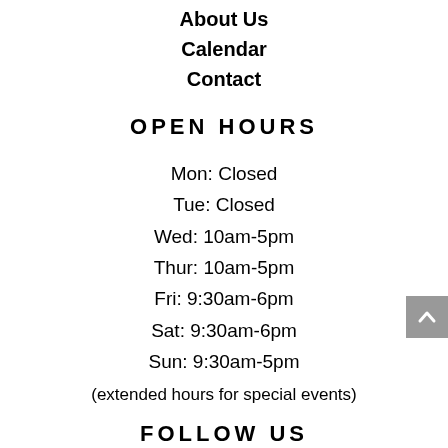About Us
Calendar
Contact
OPEN HOURS
Mon: Closed
Tue: Closed
Wed: 10am-5pm
Thur: 10am-5pm
Fri: 9:30am-6pm
Sat: 9:30am-6pm
Sun: 9:30am-5pm
(extended hours for special events)
FOLLOW US